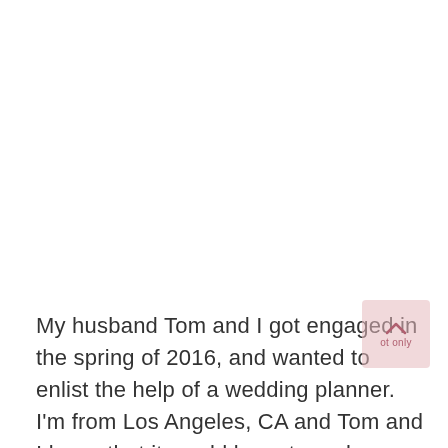My husband Tom and I got engaged in the spring of 2016, and wanted to enlist the help of a wedding planner. I'm from Los Angeles, CA and Tom and I knew that it would be extremely difficult to not only plan, but to also ultimately pull off a wedding, with